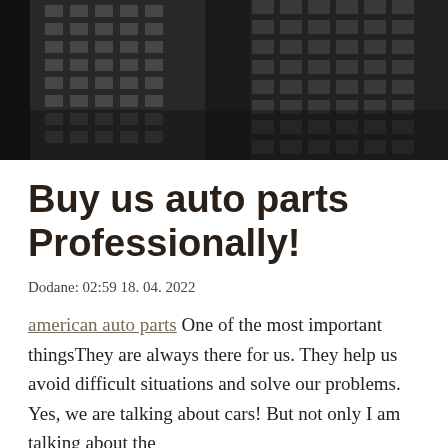[Figure (photo): Black and white photograph of tall glass skyscraper buildings viewed from below, showing geometric window patterns against a dark sky.]
Buy us auto parts Professionally!
Dodane: 02:59 18. 04. 2022
american auto parts One of the most important thingsThey are always there for us. They help us avoid difficult situations and solve our problems. Yes, we are talking about cars! But not only I am talking about the